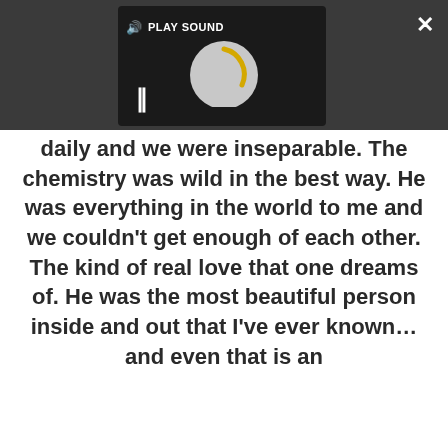[Figure (screenshot): Dark media player UI with a loading spinner (grey circle with gold arc), pause button (two vertical bars), and a 'PLAY SOUND' label with speaker icon. Dark grey background bar across top of screen. White X close button top right, expand icon middle right.]
daily and we were inseparable. The chemistry was wild in the best way. He was everything in the world to me and we couldn't get enough of each other. The kind of real love that one dreams of. He was the most beautiful person inside and out that I've ever known… and even that is an